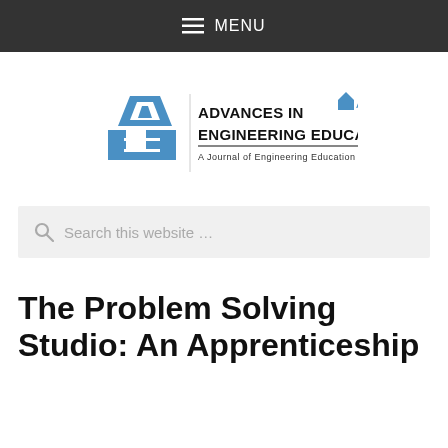MENU
[Figure (logo): Advances in Engineering Education journal logo — ASEE publication, with blue geometric A/E icon and bold text 'ADVANCES IN ENGINEERING EDUCATION' with subtitle 'A Journal of Engineering Education Applications']
Search this website …
The Problem Solving Studio: An Apprenticeship